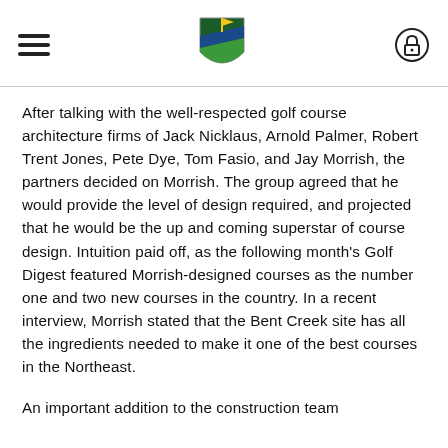[hamburger menu] [golf club logo] [lock icon]
After talking with the well-respected golf course architecture firms of Jack Nicklaus, Arnold Palmer, Robert Trent Jones, Pete Dye, Tom Fasio, and Jay Morrish, the partners decided on Morrish. The group agreed that he would provide the level of design required, and projected that he would be the up and coming superstar of course design. Intuition paid off, as the following month's Golf Digest featured Morrish-designed courses as the number one and two new courses in the country. In a recent interview, Morrish stated that the Bent Creek site has all the ingredients needed to make it one of the best courses in the Northeast.
An important addition to the construction team